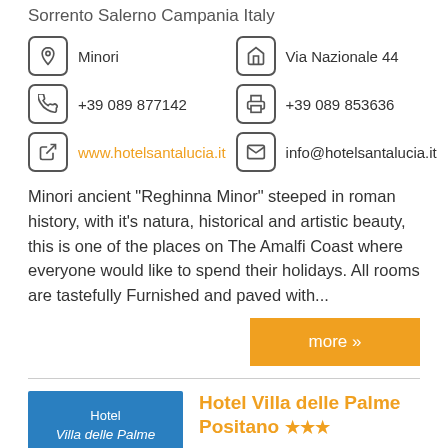Sorrento Salerno Campania Italy
Minori | Via Nazionale 44 | +39 089 877142 | +39 089 853636 | www.hotelsantalucia.it | info@hotelsantalucia.it
Minori ancient "Reghinna Minor" steeped in roman history, with it's natura, historical and artistic beauty, this is one of the places on The Amalfi Coast where everyone would like to spend their holidays. All rooms are tastefully Furnished and paved with...
more »
Hotel Villa delle Palme Positano ★★★
Quality 3 Stars Hotel Accommodation Positano Amalficoast Salerno Campania Italy
Positano | Via Pasitea 252